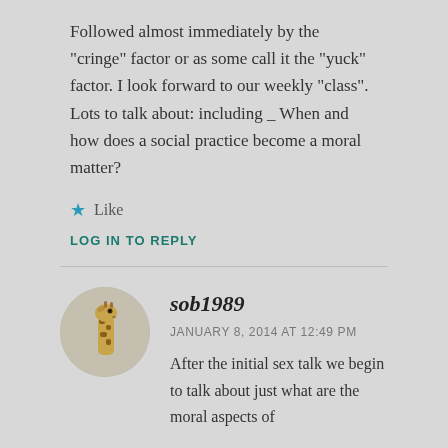Followed almost immediately by the "cringe" factor or as some call it the "yuck" factor. I look forward to our weekly "class". Lots to talk about: including _ When and how does a social practice become a moral matter?
★ Like
LOG IN TO REPLY
[Figure (photo): Circular avatar photo of a giraffe head and neck against a light background]
sob1989
JANUARY 8, 2014 AT 12:49 PM
After the initial sex talk we begin to talk about just what are the moral aspects of